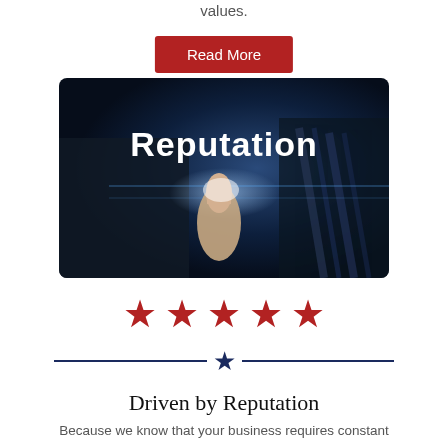values.
Read More
[Figure (photo): A businessman in a suit pressing a glowing 'Reputation' button, dark background with blue lighting effect. The word 'Reputation' is displayed in large white bold text.]
[Figure (infographic): Five red stars in a row, representing a 5-star rating.]
[Figure (infographic): A decorative divider with a navy blue star centered between two horizontal lines.]
Driven by Reputation
Because we know that your business requires constant